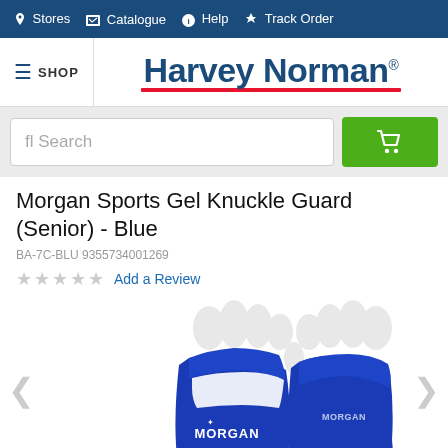Stores   Catalogue   Help   Track Order
[Figure (logo): Harvey Norman logo with red underline and registered trademark symbol]
fl Search
Morgan Sports Gel Knuckle Guard (Senior) - Blue
BA-7C-BLU 9355734001269
★★★★★ Add a Review
[Figure (photo): Two blue Morgan Sports Gel Knuckle Guards (Senior) on white mannequin hands, showing front and back views. The gloves are blue with white knuckle areas and Morgan branding.]